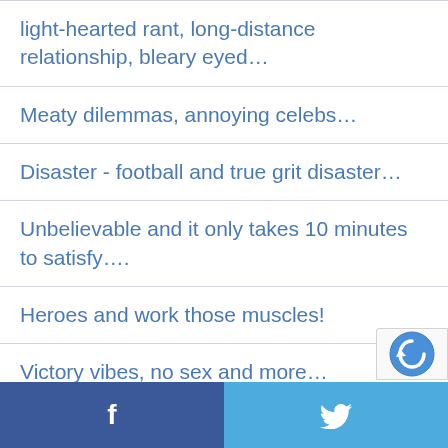light-hearted rant, long-distance relationship, bleary eyed…
Meaty dilemmas, annoying celebs…
Disaster - football and true grit disaster…
Unbelievable and it only takes 10 minutes to satisfy….
Heroes and work those muscles!
Victory vibes, no sex and more…
A mum's worries, and are you a 'clone'?
Facebook | Twitter